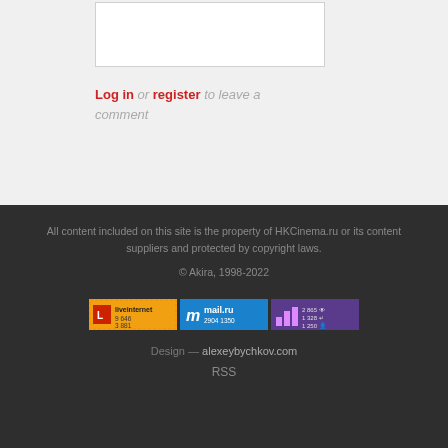[Figure (screenshot): Comment text area box (white rectangle with border)]
Log in or register to leave a comment
All content included on this site is the property of HKCinema.ru or its content suppliers and protected by copyright laws. © Akira, 1998-2022
[Figure (logo): Three website badges: liveinternet (9 646 / 3 881), mail.ru (2904 / 1350), stats (2 865 / 1 328 / 1 250)]
Design — alexeybychkov.com
RSS